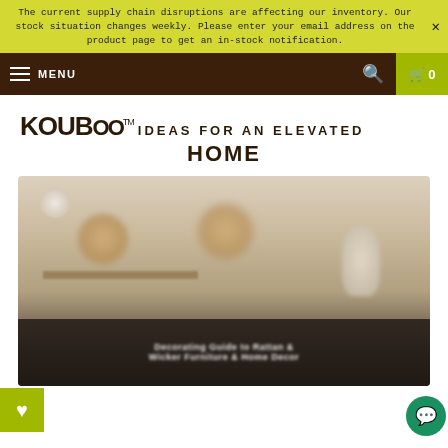The current supply chain disruptions are affecting our inventory. Our stock situation changes weekly. Please enter your email address on the product page to get an in-stock notification.
MENU | search | cart 0
KOUBOO™ IDEAS FOR AN ELEVATED HOME
[Figure (photo): Blurred lifestyle photo of a styled home interior with rattan/wicker pendant lights, shelf with small plants and vases, and a dark overlay bar at the bottom with blurred text showing what appears to be a decorating guide or product collection title.]